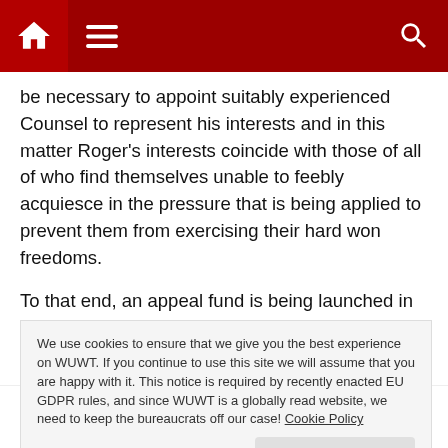Navigation header with home, menu, and search icons
be necessary to appoint suitably experienced Counsel to represent his interests and in this matter Roger's interests coincide with those of all of who find themselves unable to feebly acquiesce in the pressure that is being applied to prevent them from exercising their hard won freedoms.
To that end, an appeal fund is being launched in order to finance the necessary steps. Contributions can be made via Roger's Paypal account as displayed on his site
We use cookies to ensure that we give you the best experience on WUWT. If you continue to use this site we will assume that you are happy with it. This notice is required by recently enacted EU GDPR rules, and since WUWT is a globally read website, we need to keep the bureaucrats off our case! Cookie Policy Close and accept
sceptic organisations. Accounting procedures will be put